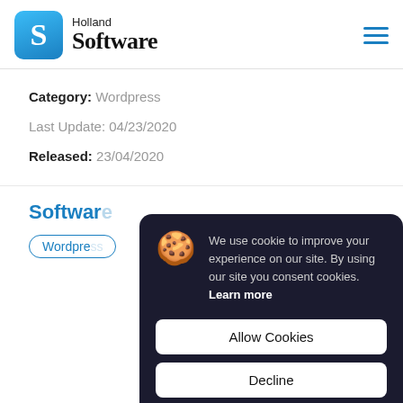Holland Software
Category: Wordpress
Last Update: 04/23/2020
Released: 23/04/2020
Software
Wordpress
We use cookie to improve your experience on our site. By using our site you consent cookies. Learn more
Allow Cookies
Decline